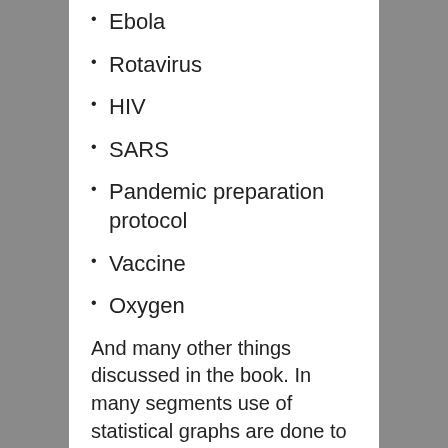Ebola
Rotavirus
HIV
SARS
Pandemic preparation protocol
Vaccine
Oxygen
And many other things discussed in the book. In many segments use of statistical graphs are done to explain some critical scientific findings by researchers. The use of colourful pictures is also done to highlight concepts relating to the subject of the book. If you are a student of biology, zoology or even life science, you will find the book quite interesting to read.